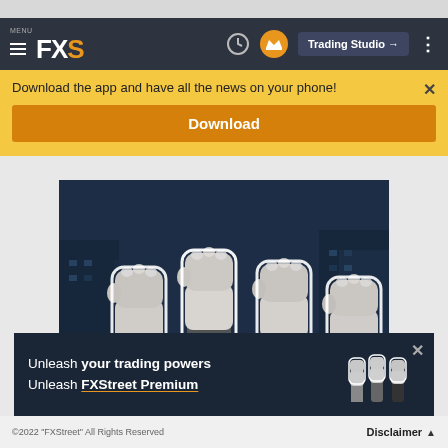MENU FXS | Trading Studio
Download the app and have all the news on your phone!
Download
[Figure (illustration): Four raised fists against a dark blue urban background, rendered in black-and-white/desaturated style, representing empowerment theme for FXStreet Premium advertisement]
Unleash your trading powers Unleash FXStreet Premium
©2022 "FXStreet" All Rights Reserved   Disclaimer ▲